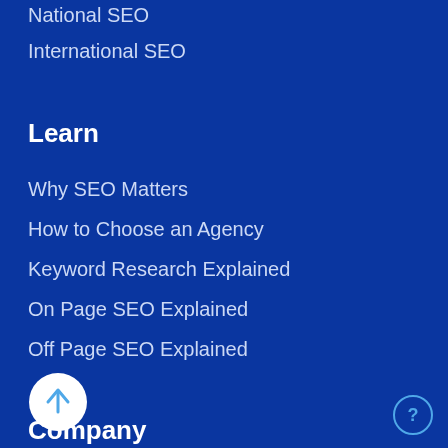National SEO
International SEO
Learn
Why SEO Matters
How to Choose an Agency
Keyword Research Explained
On Page SEO Explained
Off Page SEO Explained
[Figure (illustration): White circular button with a blue upward arrow icon (scroll to top button)]
Company
[Figure (illustration): Small circular help/question mark button in the bottom right corner, with a teal border and question mark]